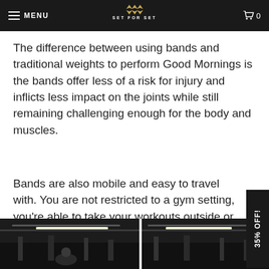MENU | SET FOR SET | 0
The difference between using bands and traditional weights to perform Good Mornings is the bands offer less of a risk for injury and inflicts less impact on the joints while still remaining challenging enough for the body and muscles.
Bands are also mobile and easy to travel with. You are not restricted to a gym setting, you're able to take your workouts outside or on the road.
[Figure (photo): Two side-by-side gym photos showing exercise equipment, partially visible at the bottom of the page]